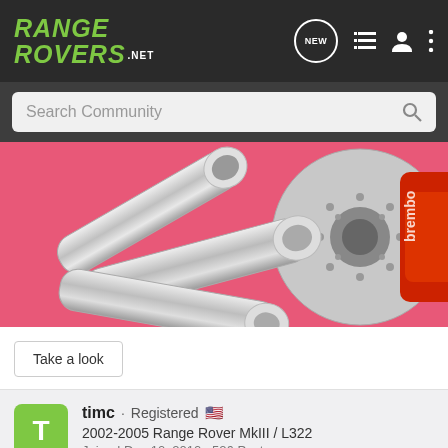RANGE ROVERS.NET
Search Community
[Figure (photo): Advertisement banner showing chrome exhaust tips and a red Brembo brake caliper with drilled rotor on a pink/red background]
Take a look
timc · Registered 🇺🇸
2002-2005 Range Rover MkIII / L322
Joined Dec 10, 2010 · 526 Posts
#9 · Dec 5, 2018